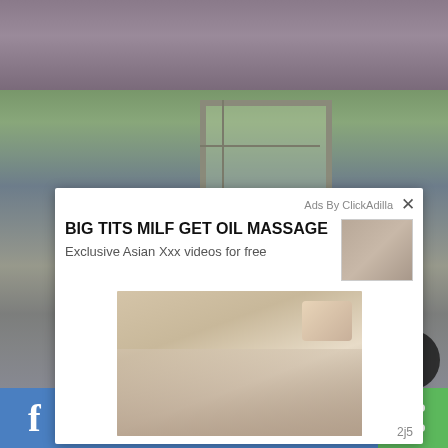[Figure (screenshot): Screenshot of a webpage with adult content video thumbnails in the background and a ClickAdilla ad overlay popup in the foreground. The ad shows title 'BIG TITS MILF GET OIL MASSAGE', subtitle 'Exclusive Asian Xxx videos for free', with a thumbnail image and a large preview image of a massage scene. Bottom of page shows Facebook sharing bar with share button.]